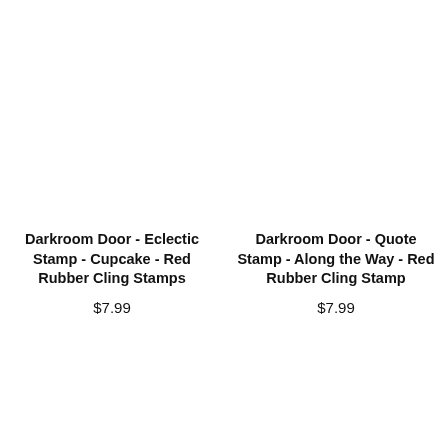Darkroom Door - Eclectic Stamp - Cupcake - Red Rubber Cling Stamps
$7.99
Darkroom Door - Quote Stamp - Along the Way - Red Rubber Cling Stamp
$7.99